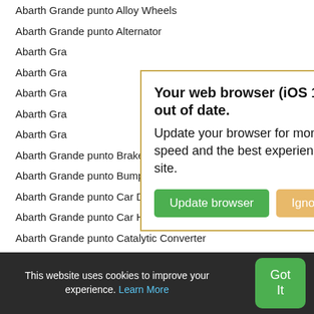Abarth Grande punto Alloy Wheels
Abarth Grande punto Alternator
Abarth Gra…
Abarth Gra…
Abarth Gra…
Abarth Gra…
Abarth Gra…
Abarth Grande punto Brake
Abarth Grande punto Bumper
Abarth Grande punto Car Door
Abarth Grande punto Car Heater
Abarth Grande punto Catalytic Converter
Abarth Grande punto Cylinder Head
[Figure (screenshot): Browser update warning popup with title 'Your web browser (iOS 11) is out of date.' and body text 'Update your browser for more security, speed and the best experience on this site.' with two buttons: 'Update browser' (green) and 'Ignore' (orange/tan).]
This website uses cookies to improve your experience. Learn More  Got It